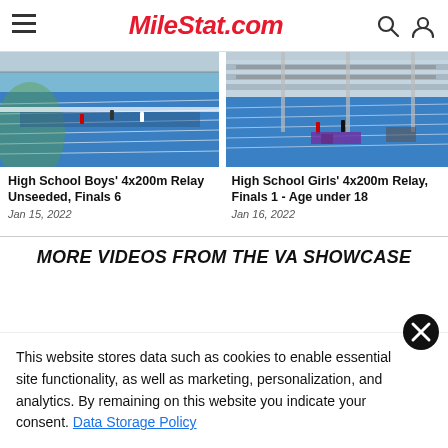MileStat.com
[Figure (photo): Indoor track and field venue with blue track surface, spectators along the infield, high school relay race]
High School Boys' 4x200m Relay Unseeded, Finals 6
Jan 15, 2022
[Figure (photo): Indoor track and field venue with blue track surface, stands visible in background, high school girls relay race]
High School Girls' 4x200m Relay, Finals 1 - Age under 18
Jan 16, 2022
MORE VIDEOS FROM THE VA SHOWCASE
This website stores data such as cookies to enable essential site functionality, as well as marketing, personalization, and analytics. By remaining on this website you indicate your consent. Data Storage Policy